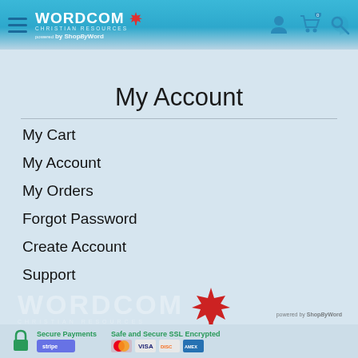Wordcom Christian Resources — powered by ShopByWord
Toys & Games
My Account
My Cart
My Account
My Orders
Forgot Password
Create Account
Support
[Figure (logo): Wordcom Christian Resources logo with maple leaf, powered by ShopByWord]
Secure Payments | Safe and Secure SSL Encrypted | payment card icons